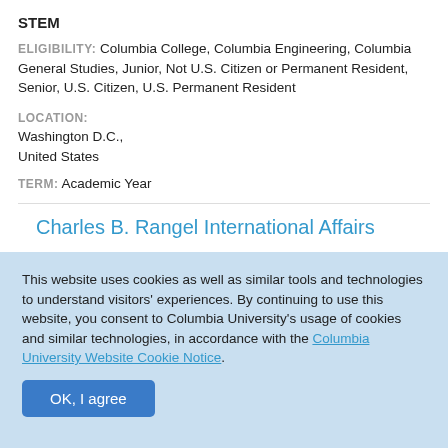STEM
ELIGIBILITY: Columbia College, Columbia Engineering, Columbia General Studies, Junior, Not U.S. Citizen or Permanent Resident, Senior, U.S. Citizen, U.S. Permanent Resident
LOCATION: Washington D.C., United States
TERM: Academic Year
Charles B. Rangel International Affairs
This website uses cookies as well as similar tools and technologies to understand visitors' experiences. By continuing to use this website, you consent to Columbia University's usage of cookies and similar technologies, in accordance with the Columbia University Website Cookie Notice.
OK, I agree